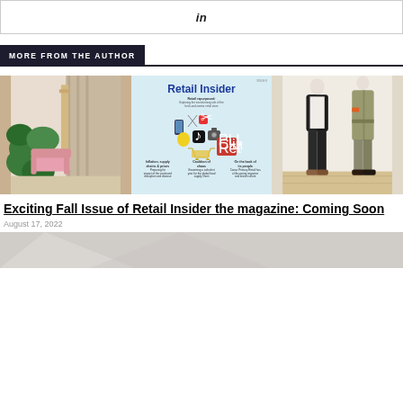[Figure (other): LinkedIn social share button bar]
MORE FROM THE AUTHOR
[Figure (photo): Three-panel image strip: left shows a retail store interior with pink furniture and plants, center shows the cover of Retail Insider magazine with title 'Retail repurposed: Exploring the transforming role of the brick-and-mortar retail store' and various icons, right shows two mannequins wearing fashion outfits in a retail store]
Exciting Fall Issue of Retail Insider the magazine: Coming Soon
August 17, 2022
[Figure (photo): Partial bottom image strip, partially visible]